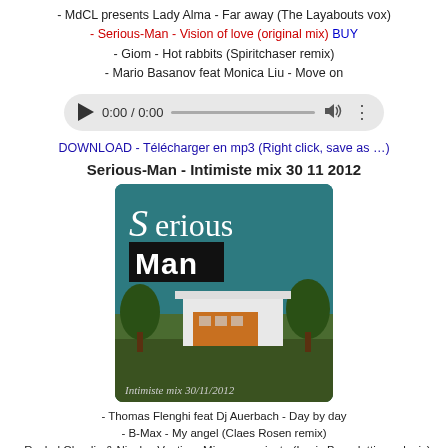- MdCL presents Lady Alma - Far away (The Layabouts vox)
- Serious-Man - Vision of love (original mix) BUY
- Giom - Hot rabbits (Spiritchaser remix)
- Mario Basanov feat Monica Liu - Move on
[Figure (other): Audio player bar with play button, time display 0:00 / 0:00, progress bar, volume icon, and options dots]
DOWNLOAD - Télécharger en mp3 (Right click, save as …)
Serious-Man - Intimiste mix 30 11 2012
[Figure (illustration): Album cover for Serious-Man Intimiste mix 30/11/2012. Teal/dark green background with white italic S followed by 'erious' and a black box with 'Man'. Bottom half shows a modern house with trees and handwritten text 'Intimiste mix 30/11/2012'.]
- Thomas Flenghi feat Dj Auerbach - Day by day
- B-Max - My angel (Claes Rosen remix)
- Rachel Claudio & Nicolas Vautier - Miscommunicate (Louis Benedetti vocal mix)
- Reel People feat Dyanna Fearon - Butterflies (The Layabouts vocal mix)
- Timmy Regisford feat Tiger Wilson - Sometimes
- Kings Of Groove & Andrea Love - Body & soul (Terry Hunter main club mix)